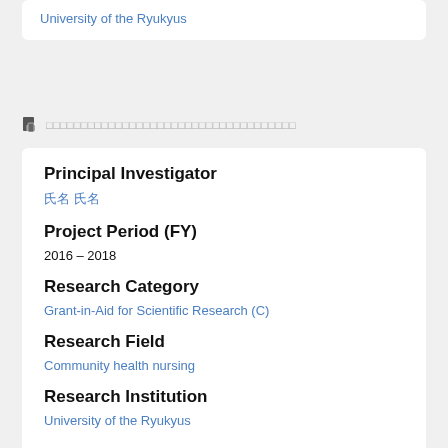University of the Ryukyus
（日本語）研究課題名
Principal Investigator
氏名 氏名
Project Period (FY)
2016 – 2018
Research Category
Grant-in-Aid for Scientific Research (C)
Research Field
Community health nursing
Research Institution
University of the Ryukyus